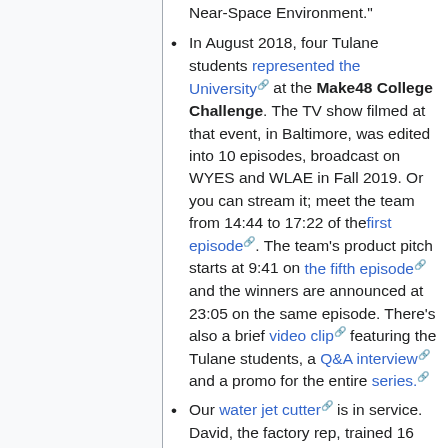Near-Space Environment."
In August 2018, four Tulane students represented the University at the Make48 College Challenge. The TV show filmed at that event, in Baltimore, was edited into 10 episodes, broadcast on WYES and WLAE in Fall 2019. Or you can stream it; meet the team from 14:44 to 17:22 of the first episode. The team's product pitch starts at 9:41 on the fifth episode and the winners are announced at 23:05 on the same episode. There's also a brief video clip featuring the Tulane students, a Q&A interview and a promo for the entire series.
Our water jet cutter is in service. David, the factory rep, trained 16 users in two sessions. The machine